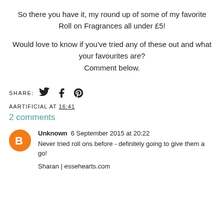So there you have it, my round up of some of my favorite Roll on Fragrances all under £5!
Would love to know if you've tried any of these out and what your favourites are? Comment below.
SHARE: [Twitter] [Facebook] [Pinterest]
AARTIFICIAL AT 16:41
2 comments
Unknown  6 September 2015 at 20:22
Never tried roll ons before - definitely going to give them a go!

Sharan | essehearts.com